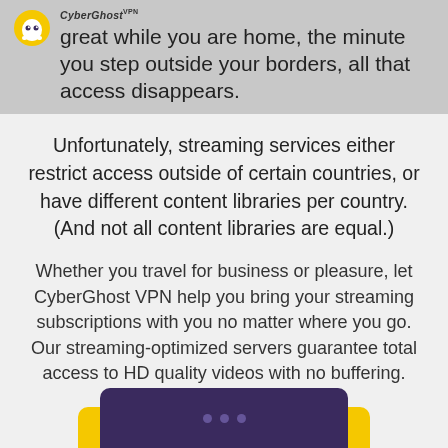great while you are home, the minute you step outside your borders, all that access disappears.
Unfortunately, streaming services either restrict access outside of certain countries, or have different content libraries per country. (And not all content libraries are equal.)
Whether you travel for business or pleasure, let CyberGhost VPN help you bring your streaming subscriptions with you no matter where you go. Our streaming-optimized servers guarantee total access to HD quality videos with no buffering.
Get CyberGhost VPN
[Figure (screenshot): Bottom portion of a dark purple laptop/monitor screen, partially visible at bottom of page]